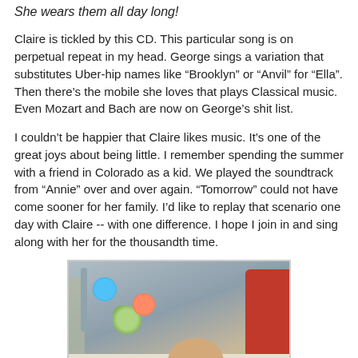She wears them all day long!
Claire is tickled by this CD. This particular song is on perpetual repeat in my head. George sings a variation that substitutes Uber-hip names like “Brooklyn” or “Anvil” for “Ella”. Then there’s the mobile she loves that plays Classical music. Even Mozart and Bach are now on George’s shit list.
I couldn’t be happier that Claire likes music. It’s one of the great joys about being little. I remember spending the summer with a friend in Colorado as a kid. We played the soundtrack from “Annie” over and over again. “Tomorrow” could not have come sooner for her family. I’d like to replay that scenario one day with Claire -- with one difference. I hope I join in and sing along with her for the thousandth time.
[Figure (photo): A baby lying in a crib looking at a colorful mobile with toys. A red pillow is visible to the right.]